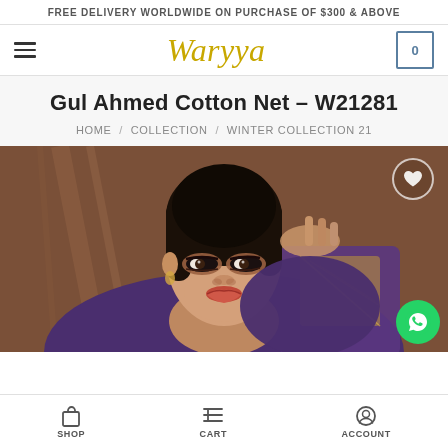FREE DELIVERY WORLDWIDE ON PURCHASE OF $300 & ABOVE
Waryya
Gul Ahmed Cotton Net – W21281
HOME / COLLECTION / WINTER COLLECTION 21
[Figure (photo): Fashion model wearing embroidered purple/gold traditional outfit, resting hand near head, dark hair pulled back, warm brown background]
SHOP  CART  ACCOUNT